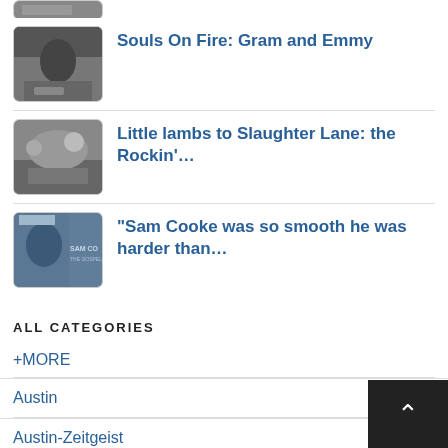[Figure (photo): Partial thumbnail at top of page, black and white photo, cropped]
Souls On Fire: Gram and Emmy
[Figure (photo): Black and white photo thumbnail showing a person sitting outdoors]
Little lambs to Slaughter Lane: the Rockin'...
[Figure (photo): Black and white photo thumbnail showing a large crowd]
“Sam Cooke was so smooth he was harder than...
[Figure (photo): Blue-toned album cover thumbnail, Sam Cooke]
ALL CATEGORIES
+MORE
Austin
Austin-Zeitgeist